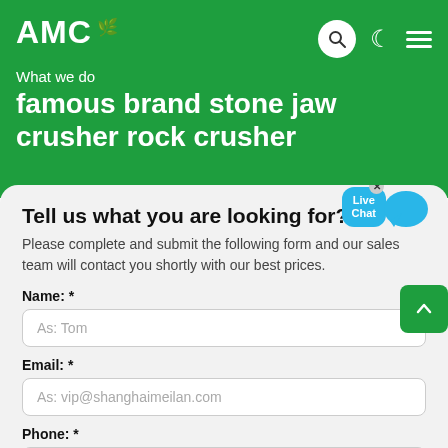AMC
What we do
famous brand stone jaw crusher rock crusher
Tell us what you are looking for?
Please complete and submit the following form and our sales team will contact you shortly with our best prices.
Name: *
As: Tom
Email: *
As: vip@shanghaimeilan.com
Phone: *